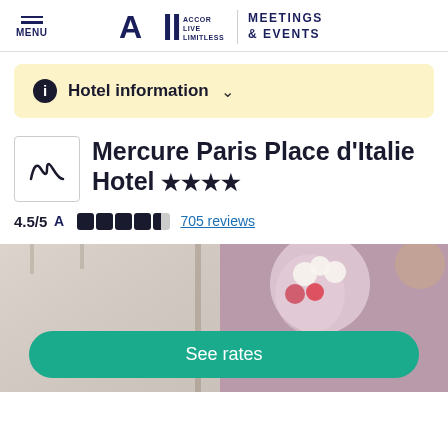MENU | ALL ACCOR LIVE LIMITLESS | MEETINGS & EVENTS
Hotel information
Mercure Paris Place d'Italie Hotel ★★★★
4.5/5 705 reviews
[Figure (photo): Hotel interior photo showing reception area with flowers and modern decor]
See rates